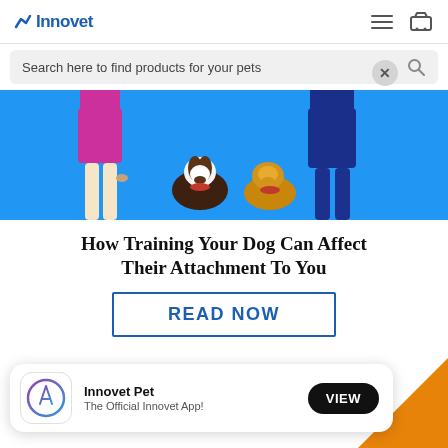[Figure (logo): Innovet logo with arrow/checkmark icon and blue text]
Search here to find products for your pets
[Figure (illustration): Two people standing with two dogs (a spaniel and a golden retriever) against a blue background]
How Training Your Dog Can Affect Their Attachment To You
READ NOW
[Figure (screenshot): App store banner showing Innovet Pet app icon, name, subtitle 'The Official Innovet App!', and a VIEW button]